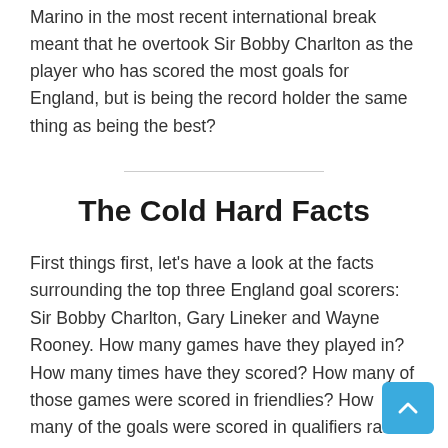Marino in the most recent international break meant that he overtook Sir Bobby Charlton as the player who has scored the most goals for England, but is being the record holder the same thing as being the best?
The Cold Hard Facts
First things first, let's have a look at the facts surrounding the top three England goal scorers: Sir Bobby Charlton, Gary Lineker and Wayne Rooney. How many games have they played in? How many times have they scored? How many of those games were scored in friendlies? How many of the goals were scored in qualifiers rather than in the competitions themselves? We found out. For the